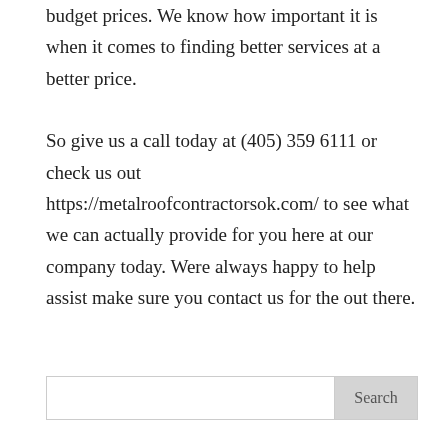budget prices. We know how important it is when it comes to finding better services at a better price.

So give us a call today at (405) 359 6111 or check us out https://metalroofcontractorsok.com/ to see what we can actually provide for you here at our company today. Were always happy to help assist make sure you contact us for the out there.